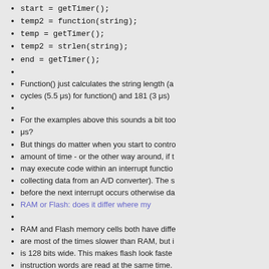start = getTimer();
temp2 = function(string);
temp  = getTimer();
temp2 = strlen(string);
end   = getTimer();
Function() just calculates the string length (a
cycles (5.5 μs) for function() and 181 (3 μs)
For the examples above this sounds a bit too
μs?
But things do matter when you start to contro
amount of time - or the other way around, if t
may execute code within an interrupt functio
collecting data from an A/D converter). The s
before the next interrupt occurs otherwise da
RAM or Flash: does it differ where my
RAM and Flash memory cells both have diffe
are most of the times slower than RAM, but i
is 128 bits wide. This makes flash look faste
instruction words are read at the same time.
what happens when the code from the exam p
The function() and strlen() examples show 34
364 plus 226 when from Flash.
So flash is still a bit slower (5-13% in this ex
Using THUMB code